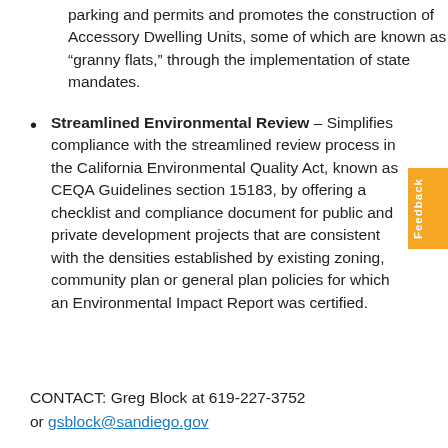parking and permits and promotes the construction of Accessory Dwelling Units, some of which are known as “granny flats,” through the implementation of state mandates.
Streamlined Environmental Review – Simplifies compliance with the streamlined review process in the California Environmental Quality Act, known as CEQA Guidelines section 15183, by offering a checklist and compliance document for public and private development projects that are consistent with the densities established by existing zoning, community plan or general plan policies for which an Environmental Impact Report was certified.
CONTACT: Greg Block at 619-227-3752 or gsblock@sandiego.gov